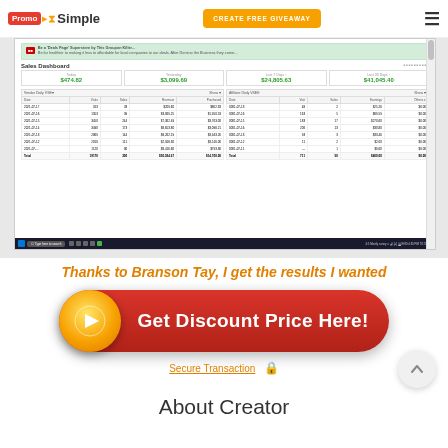PromoSimple | CREATE FREE GIVEAWAY
[Figure (screenshot): Screenshot of a Sales Dashboard showing metrics: Today $474.82, Yesterday $3,099.69, Last 7 Days $24,805.63, Last 30 Days $41,045.40, with detailed daily sales and affiliate data tables below]
Thanks to Branson Tay, I get the results I wanted
[Figure (other): Get Discount Price Here! button with orange arrow circle on red background]
Secure Transaction 🔒
About Creator